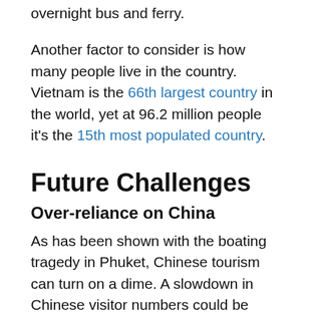overnight bus and ferry.
Another factor to consider is how many people live in the country. Vietnam is the 66th largest country in the world, yet at 96.2 million people it's the 15th most populated country.
Future Challenges
Over-reliance on China
As has been shown with the boating tragedy in Phuket, Chinese tourism can turn on a dime. A slowdown in Chinese visitor numbers could be economic-related, like a Chinese banking collapse or recession. Or it could be a geopolitical issue, like an East Sea/South China Sea incident that could instigate a consumer boycott. Either way,